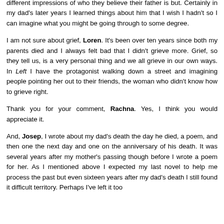different impressions of who they believe their father is but. Certainly in my dad's later years I learned things about him that I wish I hadn't so I can imagine what you might be going through to some degree.
I am not sure about grief, Loren. It's been over ten years since both my parents died and I always felt bad that I didn't grieve more. Grief, so they tell us, is a very personal thing and we all grieve in our own ways. In Left I have the protagonist walking down a street and imagining people pointing her out to their friends, the woman who didn't know how to grieve right.
Thank you for your comment, Rachna. Yes, I think you would appreciate it.
And, Josep, I wrote about my dad's death the day he died, a poem, and then one the next day and one on the anniversary of his death. It was several years after my mother's passing though before I wrote a poem for her. As I mentioned above I expected my last novel to help me process the past but even sixteen years after my dad's death I still found it difficult territory. Perhaps I've left it too